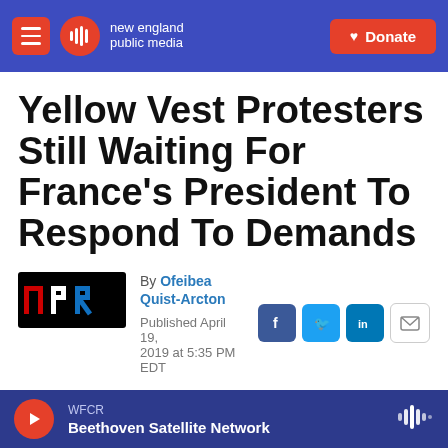new england public media | Donate
Yellow Vest Protesters Still Waiting For France's President To Respond To Demands
By Ofeibea Quist-Arcton
Published April 19, 2019 at 5:35 PM EDT
WFCR Beethoven Satellite Network